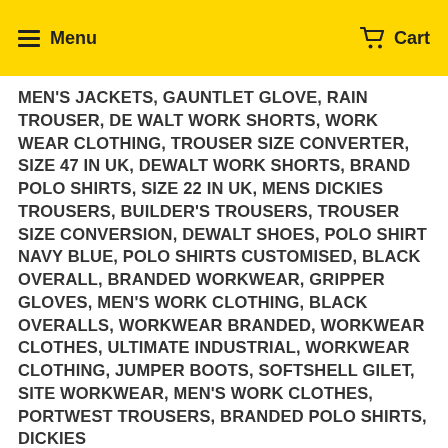Menu  Cart
MEN'S JACKETS, GAUNTLET GLOVE, RAIN TROUSER, DE WALT WORK SHORTS, WORK WEAR CLOTHING, TROUSER SIZE CONVERTER, SIZE 47 IN UK, DEWALT WORK SHORTS, BRAND POLO SHIRTS, SIZE 22 IN UK, MENS DICKIES TROUSERS, BUILDER'S TROUSERS, TROUSER SIZE CONVERSION, DEWALT SHOES, POLO SHIRT NAVY BLUE, POLO SHIRTS CUSTOMISED, BLACK OVERALL, BRANDED WORKWEAR, GRIPPER GLOVES, MEN'S WORK CLOTHING, BLACK OVERALLS, WORKWEAR BRANDED, WORKWEAR CLOTHES, ULTIMATE INDUSTRIAL, WORKWEAR CLOTHING, JUMPER BOOTS, SOFTSHELL GILET, SITE WORKWEAR, MEN'S WORK CLOTHES, PORTWEST TROUSERS, BRANDED POLO SHIRTS, DICKIES